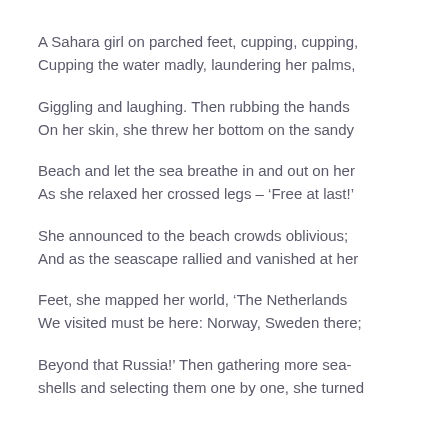A Sahara girl on parched feet, cupping, cupping,
Cupping the water madly, laundering her palms,

Giggling and laughing. Then rubbing the hands
On her skin, she threw her bottom on the sandy

Beach and let the sea breathe in and out on her
As she relaxed her crossed legs – ‘Free at last!’

She announced to the beach crowds oblivious;
And as the seascape rallied and vanished at her

Feet, she mapped her world, ‘The Netherlands
We visited must be here: Norway, Sweden there;

Beyond that Russia!’ Then gathering more sea-
shells and selecting them one by one, she turned